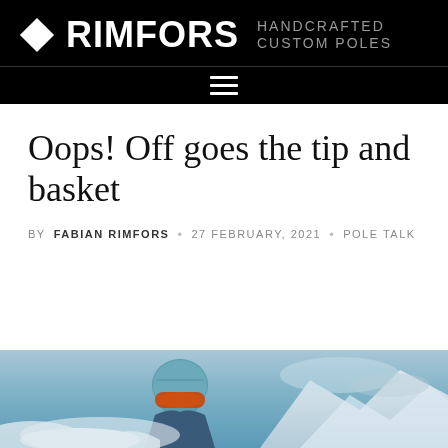RIMFORS — HANDCRAFTED CUSTOM POLES
Oops! Off goes the tip and basket
BY FABIAN RIMFORS • 27 FEBRUARY, 2021 • POLE TALK
[Figure (photo): Skier wearing a teal helmet and ski goggles on a snowy mountain slope, photo cropped at bottom of page]